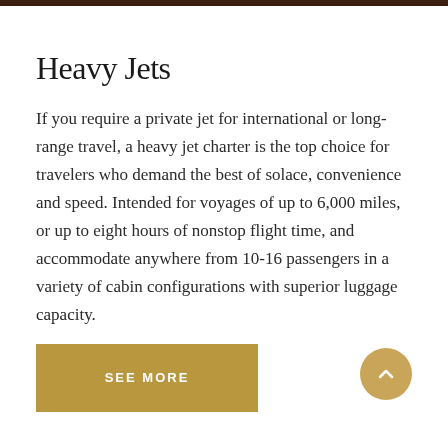Heavy Jets
If you require a private jet for international or long-range travel, a heavy jet charter is the top choice for travelers who demand the best of solace, convenience and speed. Intended for voyages of up to 6,000 miles, or up to eight hours of nonstop flight time, and accommodate anywhere from 10-16 passengers in a variety of cabin configurations with superior luggage capacity.
SEE MORE